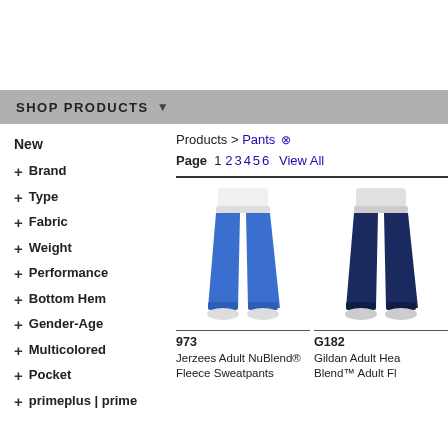SHOP PRODUCTS
New
+ Brand
+ Type
+ Fabric
+ Weight
+ Performance
+ Bottom Hem
+ Gender-Age
+ Multicolored
+ Pocket
+ primeplus | prime
Products > Pants ⊠
Page 1 2 3 4 5 6 View All
[Figure (photo): Royal blue fleece sweatpants, front view on male model]
973
Jerzees Adult NuBlend® Fleece Sweatpants
[Figure (photo): Navy blue fleece sweatpants, front view on male model (partially cropped)]
G182
Gildan Adult Hea Blend™ Adult Fl